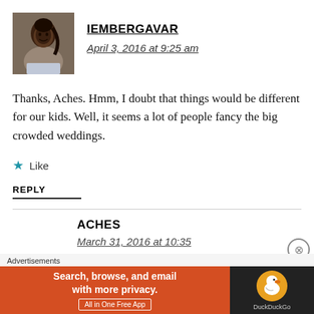IEMBERGAVAR
April 3, 2016 at 9:25 am
Thanks, Aches. Hmm, I doubt that things would be different for our kids. Well, it seems a lot of people fancy the big crowded weddings.
Like
REPLY
ACHES
March 31, 2016 at 10:35
[Figure (infographic): DuckDuckGo advertisement banner: orange section with text 'Search, browse, and email with more privacy. All in One Free App' and dark section with DuckDuckGo logo]